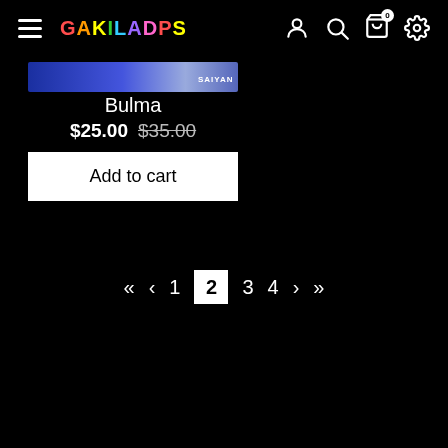GAKILADPS navigation bar with hamburger menu, logo, and icons (user, search, cart, settings)
[Figure (screenshot): Product image strip for Bulma, blue gradient banner]
Bulma
$25.00 $35.00
Add to cart
« ‹ 1 2 3 4 › »